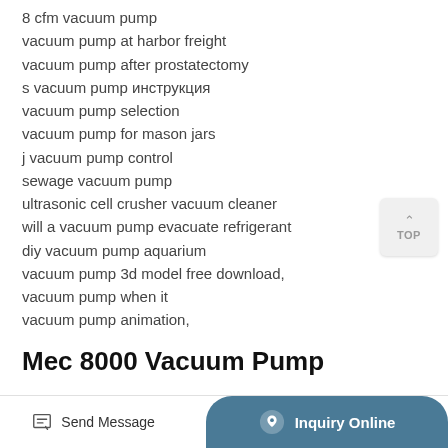8 cfm vacuum pump
vacuum pump at harbor freight
vacuum pump after prostatectomy
s vacuum pump инструкция
vacuum pump selection
vacuum pump for mason jars
j vacuum pump control
sewage vacuum pump
ultrasonic cell crusher vacuum cleaner
will a vacuum pump evacuate refrigerant
diy vacuum pump aquarium
vacuum pump 3d model free download,
vacuum pump when it
vacuum pump animation,
Mec 8000 Vacuum Pump